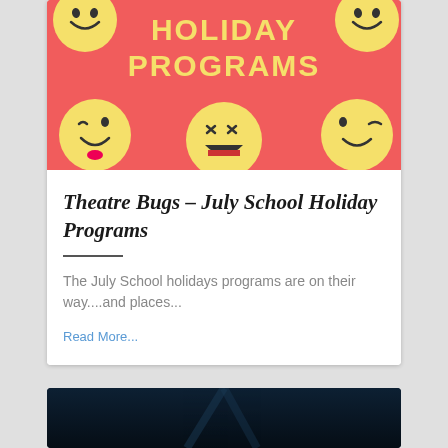[Figure (illustration): Red/coral background with yellow emoji faces (laughing, winking, tongue-out faces) and bold yellow text reading HOLIDAY PROGRAMS]
Theatre Bugs - July School Holiday Programs
The July School holidays programs are on their way....and places...
Read More...
[Figure (photo): Dark blue/black image, partially visible at bottom of page]